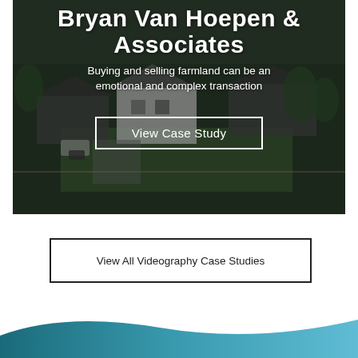[Figure (photo): Aerial photograph of a farmland property with white farmhouse, dark roof buildings, green lawns, and surrounding agricultural fields. Overlaid with dark semi-transparent filter.]
Bryan Van Hoepen & Associates
Buying and selling farmland can be an emotional and complex transaction
View Case Study
View All Videography Case Studies
[Figure (illustration): Bottom decorative gradient shape in teal/blue tones]